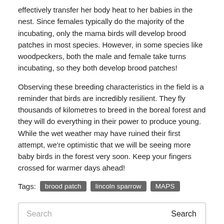effectively transfer her body heat to her babies in the nest. Since females typically do the majority of the incubating, only the mama birds will develop brood patches in most species. However, in some species like woodpeckers, both the male and female take turns incubating, so they both develop brood patches!
Observing these breeding characteristics in the field is a reminder that birds are incredibly resilient. They fly thousands of kilometres to breed in the boreal forest and they will do everything in their power to produce young. While the wet weather may have ruined their first attempt, we're optimistic that we will be seeing more baby birds in the forest very soon. Keep your fingers crossed for warmer days ahead!
Tags: brood patch   lincoln sparrow   MAPS
Weekly Banding Reports
August 11 – 17, 2022